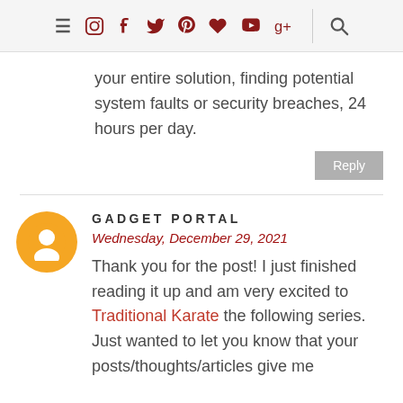Navigation bar with menu, social icons (instagram, facebook, twitter, pinterest, heart/bloglovin, youtube, google+), and search
your entire solution, finding potential system faults or security breaches, 24 hours per day.
Reply
GADGET PORTAL
Wednesday, December 29, 2021
Thank you for the post! I just finished reading it up and am very excited to Traditional Karate the following series. Just wanted to let you know that your posts/thoughts/articles give me